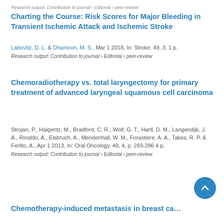Research output: Contribution to journal › Editorial › peer-review
Charting the Course: Risk Scores for Major Bleeding in Transient Ischemic Attack and Ischemic Stroke
Labovitz, D. L. & Dhamoon, M. S., Mar 1 2018, In: Stroke. 49, 3, 1 p.
Research output: Contribution to journal › Editorial › peer-review
Chemoradiotherapy vs. total laryngectomy for primary treatment of advanced laryngeal squamous cell carcinoma
Strojan, P., Haigentz, M., Bradford, C. R., Wolf, G. T., Hartl, D. M., Langendijk, J. A., Rinaldo, A., Eisbruch, A., Mendenhall, W. M., Forastiere, A. A., Takes, R. P. & Ferlito, A., Apr 1 2013, In: Oral Oncology. 49, 4, p. 283-286 4 p.
Research output: Contribution to journal › Editorial › peer-review
Chemotherapy-induced metastasis in breast ca...